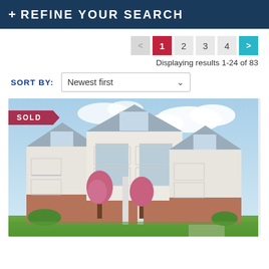REFINE YOUR SEARCH
Displaying results 1-24 of 83
SORT BY: Newest first
[Figure (photo): Exterior photo of a multi-story white apartment complex with balconies, brick accents, dormers, and blooming pink trees, under a partly cloudy blue sky. A red 'SOLD' banner is overlaid in the upper left corner.]